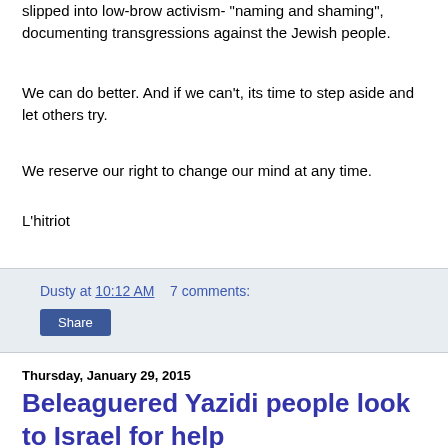slipped into low-brow activism- "naming and shaming", documenting transgressions against the Jewish people.
We can do better. And if we can't, its time to step aside and let others try.
We reserve our right to change our mind at any time.
L'hitriot
Dusty at 10:12 AM   7 comments:
Share
Thursday, January 29, 2015
Beleaguered Yazidi people look to Israel for help